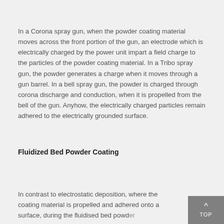In a Corona spray gun, when the powder coating material moves across the front portion of the gun, an electrode which is electrically charged by the power unit impart a field charge to the particles of the powder coating material. In a Tribo spray gun, the powder generates a charge when it moves through a gun barrel. In a bell spray gun, the powder is charged through corona discharge and conduction, when it is propelled from the bell of the gun. Anyhow, the electrically charged particles remain adhered to the electrically grounded surface.
Fluidized Bed Powder Coating
In contrast to electrostatic deposition, where the coating material is propelled and adhered onto a surface, during the fluidised bed powder coating process, the coating material isalled to bing fluidized bed and...